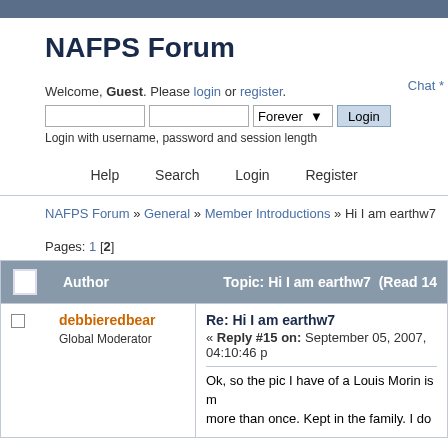NAFPS Forum
Welcome, Guest. Please login or register.
Login with username, password and session length
Chat *
Help   Search   Login   Register
NAFPS Forum » General » Member Introductions » Hi I am earthw7
Pages: 1 [2]
| Author | Topic: Hi I am earthw7  (Read 14... |
| --- | --- |
| debbieredbear
Global Moderator | Re: Hi I am earthw7
« Reply #15 on: September 05, 2007, 04:10:46 p
Ok, so the pic I have of a Louis Morin is m more than once. Kept in the family. I do ... |